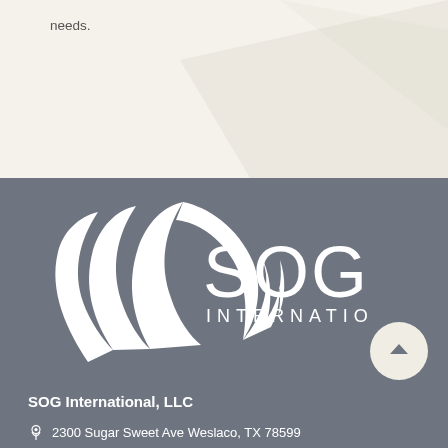needs.
[Figure (logo): SOG International logo with white wing design on gray background and text SOG INTERNATIONAL]
SOG International, LLC
2300 Sugar Sweet Ave Weslaco, TX 78599